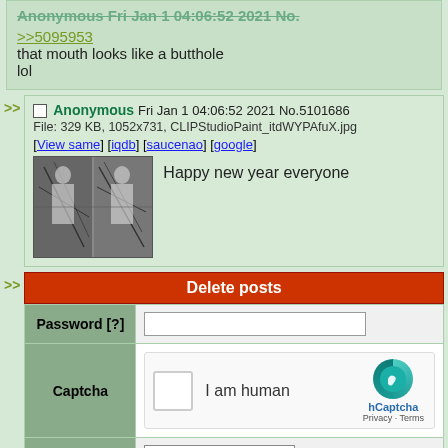>>5095953
that mouth looks like a butthole
lol
Anonymous Fri Jan 1 04:06:52 2021 No.5101686
File: 329 KB, 1052x731, CLIPStudioPaint_itdWYPAfuX.jpg
[View same] [iqdb] [saucenao] [google]
Happy new year everyone
[Figure (screenshot): hCaptcha delete posts form with password field, captcha widget with 'I am human' checkbox, and Delete selected posts button]
|  |  |
| --- | --- |
| Password [?] |  |
| Captcha | I am human |
| Action | Delete selected posts |